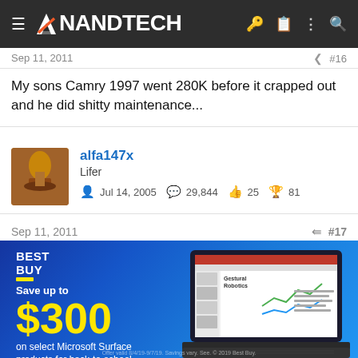AnandTech
Sep 11, 2011   #16
My sons Camry 1997 went 280K before it crapped out and he did shitty maintenance...
alfa147x
Lifer
Jul 14, 2005   29,844   25   81
Sep 11, 2011   #17
[Figure (other): Best Buy advertisement: Save up to $300 on select Microsoft Surface products for back-to-school. Shop Now button. Shows a laptop with PowerPoint open.]